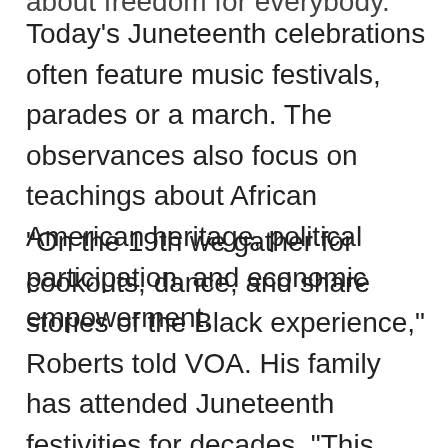about freedom for everybody.
Today's Juneteenth celebrations often feature music festivals, parades or a march. The observances also focus on teachings about African American heritage, political participation, and economic empowerment.
"On the 19th we gather for cookouts, dance, and share stories of the Black experience," Roberts told VOA. His family has attended Juneteenth festivities for decades. "This year we have two days of events on Sunday and Monday, the day the federal holiday falls on," he said. The holiday has become...